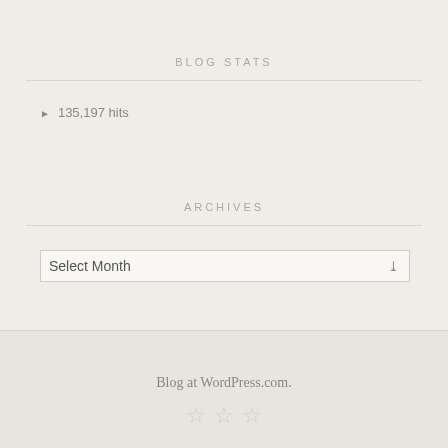BLOG STATS
135,197 hits
ARCHIVES
Select Month
Blog at WordPress.com.